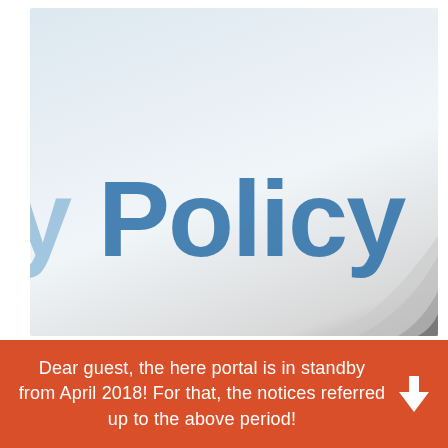[Figure (photo): Close-up photo of a document or book with the word 'Policy' in large dark blue bold text visible, partially cropped on the left (showing only 'y Policy'), on a light grey-blue gradient background. Bottom-right corner shows the spine/corner of a white book or binder.]
Dear guest, the here portal is in standby from April 2018! For that, the notices referred up to the above period!